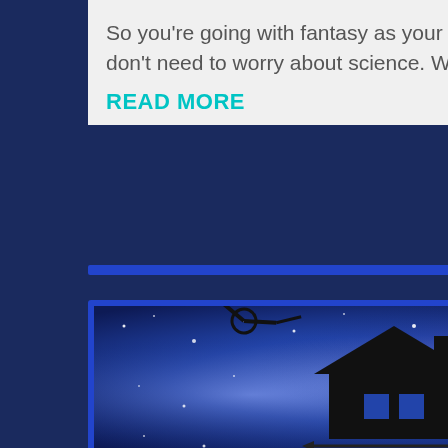So you're going with fantasy as your genre of choice? I guess that means you don't need to worry about science. WRONG! Just because you presuppose...
READ MORE
[Figure (illustration): An illustration of a house icon with measurement arrows (horizontal and vertical) alongside a compass/drafting tool and a pencil, set against a blue galaxy/space nebula background.]